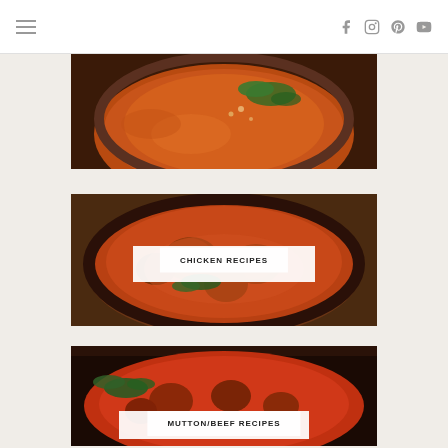Navigation header with hamburger menu and social icons (Facebook, Instagram, Pinterest, YouTube)
[Figure (photo): Overhead view of a curry dish with herbs and garnishes in a pot]
[Figure (photo): Chicken curry in a pot with a white label overlay reading CHICKEN RECIPES]
CHICKEN RECIPES
[Figure (photo): Mutton/beef curry in a pan with a white label overlay reading MUTTON/BEEF RECIPES]
MUTTON/BEEF RECIPES